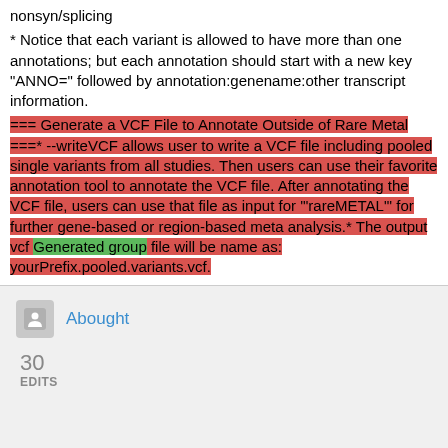nonsyn/splicing
* Notice that each variant is allowed to have more than one annotations; but each annotation should start with a new key "ANNO=" followed by annotation:genename:other transcript information.
=== Generate a VCF File to Annotate Outside of Rare Metal ===* --writeVCF allows user to write a VCF file including pooled single variants from all studies. Then users can use their favorite annotation tool to annotate the VCF file. After annotating the VCF file, users can use that file as input for '"rareMETAL"' for further gene-based or region-based meta analysis.* The output vcf Generated group file will be name as: yourPrefix.pooled.variants.vcf.
Abought
30
EDITS